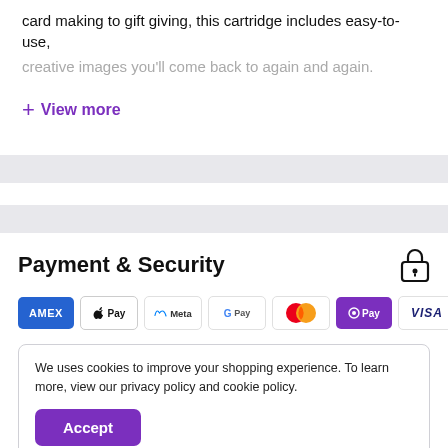card making to gift giving, this cartridge includes easy-to-use,
creative images you'll come back to again and again.
+ View more
Payment & Security
[Figure (other): Payment method logos: AMEX, Apple Pay, Meta, Google Pay, Mastercard, O Pay, VISA]
We uses cookies to improve your shopping experience. To learn more, view our privacy policy and cookie policy.
Accept